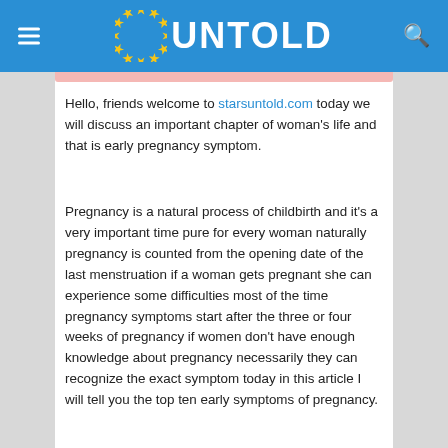UNTOLD
Hello, friends welcome to starsuntold.com today we will discuss an important chapter of woman's life and that is early pregnancy symptom.
Pregnancy is a natural process of childbirth and it's a very important time pure for every woman naturally pregnancy is counted from the opening date of the last menstruation if a woman gets pregnant she can experience some difficulties most of the time pregnancy symptoms start after the three or four weeks of pregnancy if women don't have enough knowledge about pregnancy necessarily they can recognize the exact symptom today in this article I will tell you the top ten early symptoms of pregnancy.